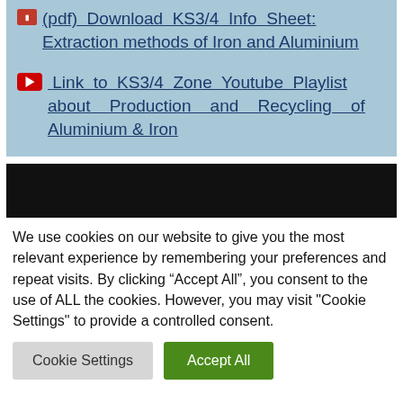(pdf) Download KS3/4 Info Sheet: Extraction methods of Iron and Aluminium
Link to KS3/4 Zone Youtube Playlist about Production and Recycling of Aluminium & Iron
[Figure (screenshot): Black bar representing a video or media embed area]
We use cookies on our website to give you the most relevant experience by remembering your preferences and repeat visits. By clicking “Accept All”, you consent to the use of ALL the cookies. However, you may visit "Cookie Settings" to provide a controlled consent.